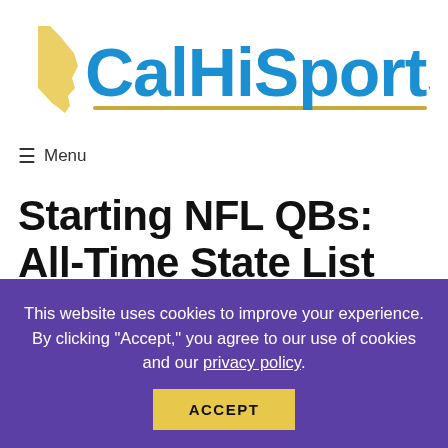[Figure (logo): CalHiSports.com logo with blue bold text and California state outline in gold, with a gold horizontal line beneath]
≡ Menu
Starting NFL QBs: All-Time State List
By Mark Tennis | Published: October 21, 2018
This website uses cookies to improve your experience. By clicking "Accept," you agree to our use of cookies and our privacy policy.
ACCEPT